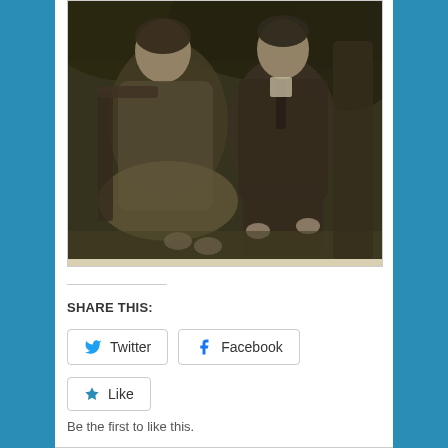[Figure (photo): Sepia-toned vintage photograph of two elderly people seated outdoors. On the left is a woman and on the right is a man wearing a suit with a tie. They appear to be seated on chairs with foliage/trees visible in the background.]
SHARE THIS:
Twitter
Facebook
Like
Be the first to like this.